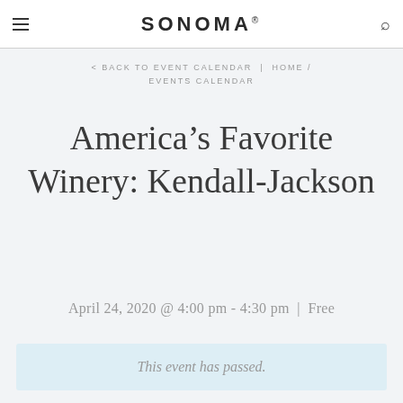SONOMA
< BACK TO EVENT CALENDAR  |  HOME / EVENTS CALENDAR
America’s Favorite Winery: Kendall-Jackson
April 24, 2020 @ 4:00 pm - 4:30 pm  |  Free
This event has passed.